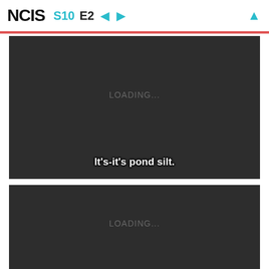NCIS S10 E2 ← →
[Figure (screenshot): Dark video panel showing LOADING... text and subtitle 'It's-it's pond silt.']
[Figure (screenshot): Dark video panel showing LOADING... text]